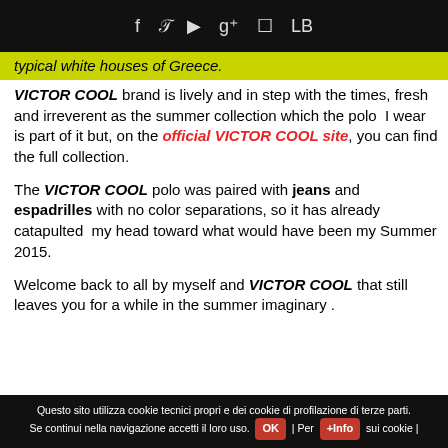f  t  [youtube]  g+  [instagram]  LB
typical white houses of Greece.
VICTOR COOL brand is lively and in step with the times, fresh and irreverent as the summer collection which the polo I wear is part of it but, on the official VICTOR COOL site, you can find the full collection.
The VICTOR COOL polo was paired with jeans and espadrilles with no color separations, so it has already catapulted my head toward what would have been my Summer 2015.
Welcome back to all by myself and VICTOR COOL that still leaves you for a while in the summer imaginary .
Questo sito utilizza cookie tecnici propri e dei cookie di profilazione di terze parti. Se continui nella navigazione accetti il loro uso. OK | Per +Info sui cookie |